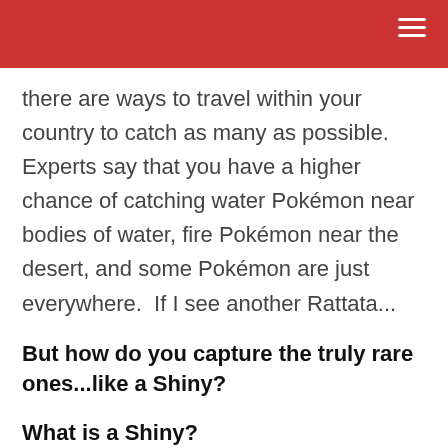there are ways to travel within your country to catch as many as possible.  Experts say that you have a higher chance of catching water Pokémon near bodies of water, fire Pokémon near the desert, and some Pokémon are just everywhere.  If I see another Rattata...
But how do you capture the truly rare ones...like a Shiny?
What is a Shiny?
Shinnies first appeared in